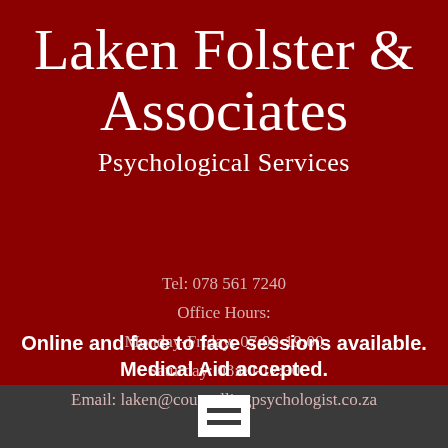Laken Folster & Associates
Psychological Services
Tel: 078 561 7240
Office Hours:
Monday-Friday: 07:00-19:00
Saturday: 08:00-12:30
Email: laken@counsellingpsychologist.co.za
Online and face to face sessions available. Medical Aid accepted.
[Figure (logo): White box with two dark horizontal lines forming an equals-sign style logo on gray background]